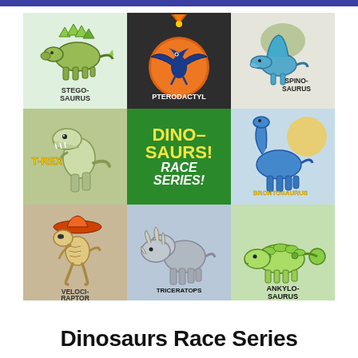[Figure (illustration): 3x3 grid of dinosaur race medal illustrations: row 1: Stegosaurus medal, Pterodactyl medal (dark background), Spinosaurus medal; row 2: T-Rex medal, center green tile with 'DINOSAURS! Race Series!' text, Brontosaurus medal; row 3: Velociraptor medal, Triceratops medal, Ankylosaurus medal]
Dinosaurs Race Series